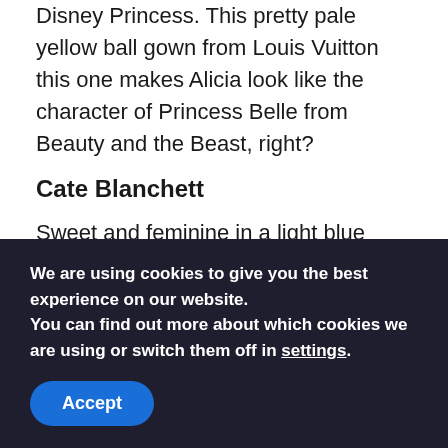Disney Princess. This pretty pale yellow ball gown from Louis Vuitton this one makes Alicia look like the character of Princess Belle from Beauty and the Beast, right?
Cate Blanchett
Sweet and feminine in a light blue floral dress designed by Armani Privé, making Cate look lovely when posing on the 2016 Oscar red carpet last.
Tags:  best fashion   Best OSCAR dress
We are using cookies to give you the best experience on our website.
You can find out more about which cookies we are using or switch them off in settings.
Accept